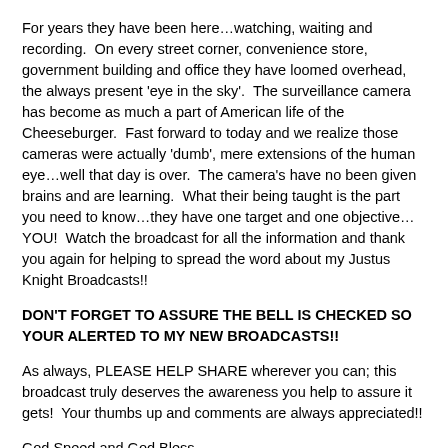For years they have been here…watching, waiting and recording.  On every street corner, convenience store, government building and office they have loomed overhead, the always present 'eye in the sky'.  The surveillance camera has become as much a part of American life of the Cheeseburger.  Fast forward to today and we realize those cameras were actually 'dumb', mere extensions of the human eye…well that day is over.  The camera's have no been given brains and are learning.  What their being taught is the part you need to know…they have one target and one objective…YOU!  Watch the broadcast for all the information and thank you again for helping to spread the word about my Justus Knight Broadcasts!!
DON'T FORGET TO ASSURE THE BELL IS CHECKED SO YOUR ALERTED TO MY NEW BROADCASTS!!
As always, PLEASE HELP SHARE wherever you can; this broadcast truly deserves the awareness you help to assure it gets!  Your thumbs up and comments are always appreciated!!
God Speed and God Bless,